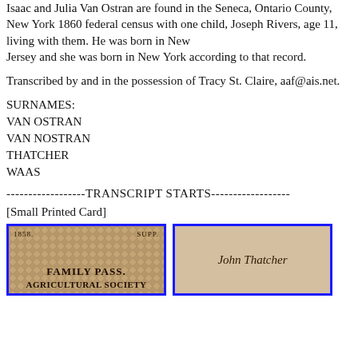Isaac and Julia Van Ostran are found in the Seneca, Ontario County, New York 1860 federal census with one child, Joseph Rivers, age 11, living with them. He was born in New Jersey and she was born in New York according to that record.
Transcribed by and in the possession of Tracy St. Claire, aaf@ais.net.
SURNAMES:
VAN OSTRAN
VAN NOSTRAN
THATCHER
WAAS
------------------TRANSCRIPT STARTS------------------
[Small Printed Card]
[Figure (photo): Left card: Small printed card with diamond/lattice background pattern, text reading '1858.' and 'SUPP.' at top, then 'FAMILY PASS.' and 'AGRICULTURAL SOCIETY' at bottom.]
[Figure (photo): Right card: Back of small card with handwritten cursive text reading 'John Thatcher'.]